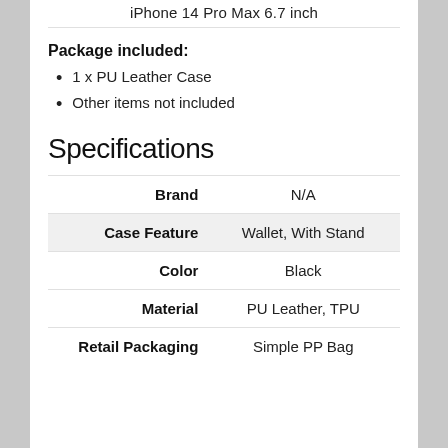iPhone 14 Pro Max 6.7 inch
Package included:
1 x PU Leather Case
Other items not included
Specifications
|  |  |
| --- | --- |
| Brand | N/A |
| Case Feature | Wallet, With Stand |
| Color | Black |
| Material | PU Leather, TPU |
| Retail Packaging | Simple PP Bag |